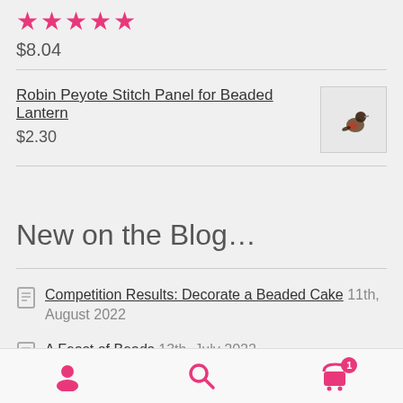[Figure (other): Pink star rating: 4 and a half stars]
$8.04
Robin Peyote Stitch Panel for Beaded Lantern
$2.30
[Figure (photo): Small thumbnail image of a beaded lantern panel with a robin bird motif]
New on the Blog…
Competition Results: Decorate a Beaded Cake 11th, August 2022
A Feast of Beads 13th, July 2022
Navigation bar with user, search, and cart (1 item) icons